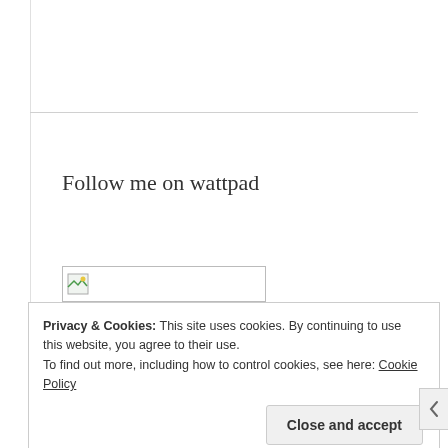Follow me on wattpad
[Figure (other): Broken image placeholder for a wattpad follow button/banner]
Privacy & Cookies: This site uses cookies. By continuing to use this website, you agree to their use.
To find out more, including how to control cookies, see here: Cookie Policy
Close and accept